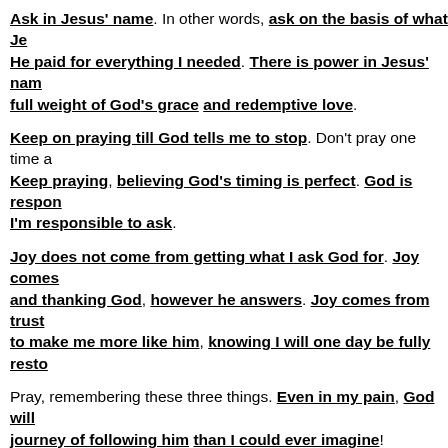Ask in Jesus' name. In other words, ask on the basis of what Je- He paid for everything I needed. There is power in Jesus' name- full weight of God's grace and redemptive love.
Keep on praying till God tells me to stop. Don't pray one time a- Keep praying, believing God's timing is perfect. God is respon- I'm responsible to ask.
Joy does not come from getting what I ask God for. Joy comes- and thanking God, however he answers. Joy comes from trust- to make me more like him, knowing I will one day be fully resto-
Pray, remembering these three things. Even in my pain, God will journey of following him than I could ever imagine!
In summary, the Father will give me whatever I ask in Jesus' name. your joy will be complete. If I need something healed or restored, I myself and then admit I'm not in control. Then ask God for help. I'm always been waiting on me! He is waiting for me to ask. And he kno- what I need. Remember Jesus wants me to ask. God wants me to because that's the only way I'm going to learn how to trust him. Ask